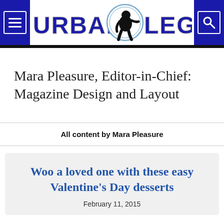Urban Legend (logo with Bigfoot/Sasquatch icon, menu icon, search icon)
Mara Pleasure, Editor-in-Chief: Magazine Design and Layout
All content by Mara Pleasure
Woo a loved one with these easy Valentine's Day desserts
February 11, 2015